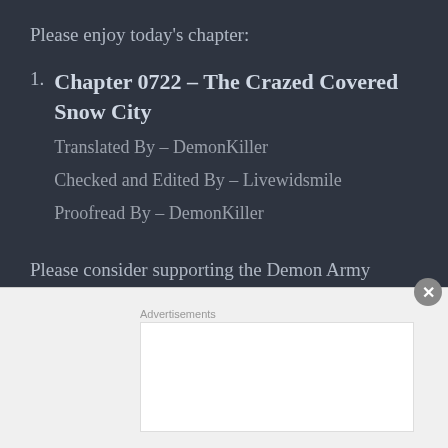Please enjoy today's chapter:
Chapter 0722 – The Crazed Covered Snow City
Translated By – DemonKiller
Checked and Edited By – Livewidsmile
Proofread By – DemonKiller
Please consider supporting the Demon Army through Our Patreon or through our PayPal if you can. The proceeds go entirely to keep the site alive and to pay the team for their services if there is anything
Advertisements